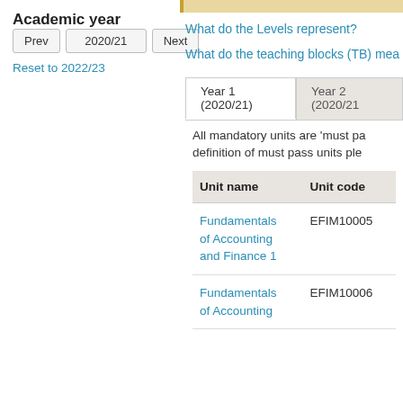Academic year
Prev  2020/21  Next
Reset to 2022/23
What do the Levels represent?
What do the teaching blocks (TB) mea
Year 1 (2020/21)   Year 2 (2020/21)
All mandatory units are 'must pa definition of must pass units ple
| Unit name | Unit code |
| --- | --- |
| Fundamentals of Accounting and Finance 1 | EFIM10005 |
| Fundamentals of Accounting | EFIM10006 |